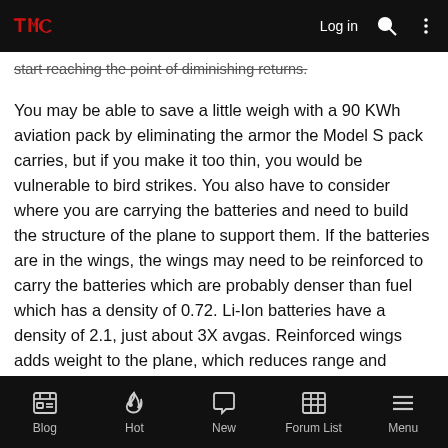TMC | Log in
start reaching the point of diminishing returns.
You may be able to save a little weigh with a 90 KWh aviation pack by eliminating the armor the Model S pack carries, but if you make it too thin, you would be vulnerable to bird strikes. You also have to consider where you are carrying the batteries and need to build the structure of the plane to support them. If the batteries are in the wings, the wings may need to be reinforced to carry the batteries which are probably denser than fuel which has a density of 0.72. Li-Ion batteries have a density of 2.1, just about 3X avgas. Reinforced wings adds weight to the plane, which reduces range and performance.
The engineering trade offs with land vehicles are a lot more forgiving than with planes. The Physics bites you in the backside at every turn.
Blog | Hot | New | Forum List | Menu